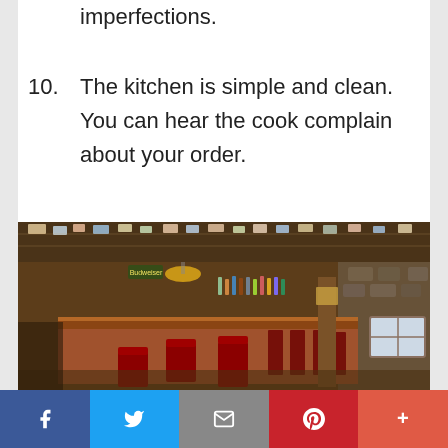imperfections.
10. The kitchen is simple and clean. You can hear the cook complain about your order.
[Figure (photo): Interior of a rustic bar/restaurant with wooden bar counter, red chairs, bottles behind the bar, and memorabilia covering the ceiling and walls.]
Facebook  Twitter  Email  Pinterest  More